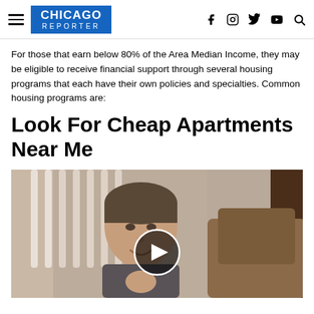CHICAGO REPORTER
For those that earn below 80% of the Area Median Income, they may be eligible to receive financial support through several housing programs that each have their own policies and specialties. Common housing programs are:
Look For Cheap Apartments Near Me
[Figure (photo): Video thumbnail showing a man sitting near a staircase and a sofa, with a circular play button overlay in the center.]